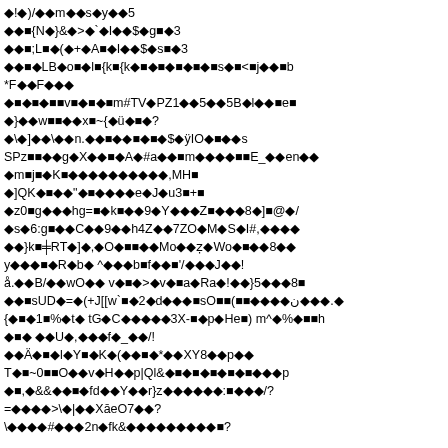corrupted/encoded text block with diamond replacement characters and mixed ASCII symbols